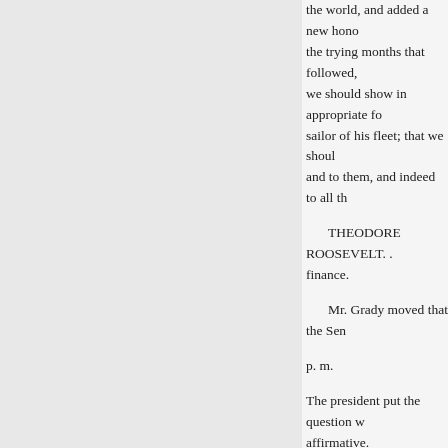the world, and added a new hono the trying months that followed, we should show in appropriate fo sailor of his fleet; that we shoul and to them, and indeed to all th
THEODORE ROOSEVELT. finance.
Mr. Grady moved that the Sen p. m.
The president put the question w affirmative.
TWO O'CLOCK AND THIRT
The Senate again met. The Se consideration of the general orde
"An act to amend the Tax Law Int. No, 1.)
After some time spent therein, th in favor of the passage of said b